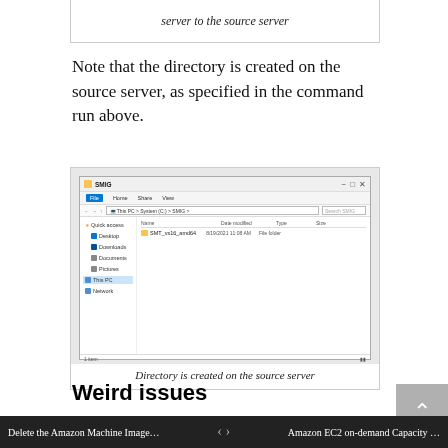server to the source server
Note that the directory is created on the source server, as specified in the command run above.
[Figure (screenshot): Windows File Explorer window showing SMIG folder on This PC > System (C:) > SMIG, with one item: SMT_vs16_amd64 folder, dated 8/19/2021 11:08 AM, File folder type]
Directory is created on the source server
Weird issues
In my testing with newer servers, I ran into multiple buggy behaviors with WSMT. After deploying the tools to the source server, you